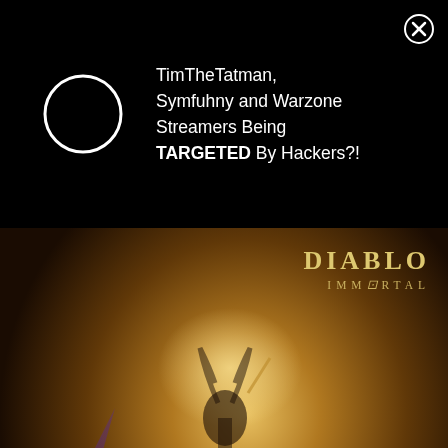TimTheTatman, Symfuhny and Warzone Streamers Being TARGETED By Hackers?!
[Figure (photo): Diablo Immortal game promotional image showing a warrior character surrounded by demons, with BLIZZARD ENTERTAINMENT label at the bottom and Diablo Immortal logo top right]
Diablo Immortal is free-to-play.
Ho
[Figure (other): Shopify Plus advertisement: Tilley saw a 200% increase in conversion rate with Shopify Plus. Learn more button.]